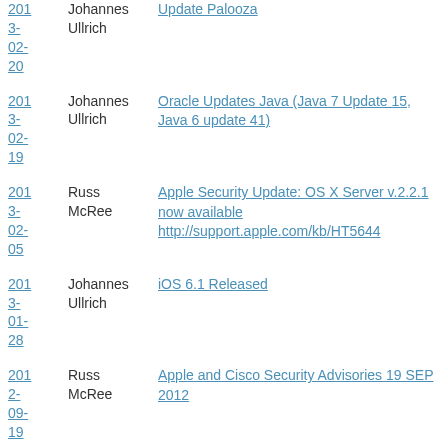2013-02-20 | Johannes Ullrich | Update Palooza
2013-02-19 | Johannes Ullrich | Oracle Updates Java (Java 7 Update 15, Java 6 update 41)
2013-02-05 | Russ McRee | Apple Security Update: OS X Server v.2.2.1 now available http://support.apple.com/kb/HT5644
2013-01-28 | Johannes Ullrich | iOS 6.1 Released
2012-09-19 | Russ McRee | Apple and Cisco Security Advisories 19 SEP 2012